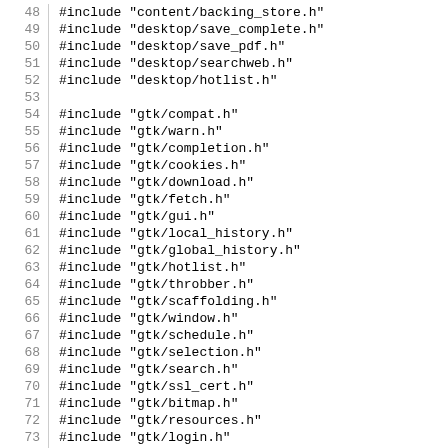48  #include "content/backing_store.h"
49  #include "desktop/save_complete.h"
50  #include "desktop/save_pdf.h"
51  #include "desktop/searchweb.h"
52  #include "desktop/hotlist.h"
53
54  #include "gtk/compat.h"
55  #include "gtk/warn.h"
56  #include "gtk/completion.h"
57  #include "gtk/cookies.h"
58  #include "gtk/download.h"
59  #include "gtk/fetch.h"
60  #include "gtk/gui.h"
61  #include "gtk/local_history.h"
62  #include "gtk/global_history.h"
63  #include "gtk/hotlist.h"
64  #include "gtk/throbber.h"
65  #include "gtk/scaffolding.h"
66  #include "gtk/window.h"
67  #include "gtk/schedule.h"
68  #include "gtk/selection.h"
69  #include "gtk/search.h"
70  #include "gtk/ssl_cert.h"
71  #include "gtk/bitmap.h"
72  #include "gtk/resources.h"
73  #include "gtk/login.h"
74  #include "gtk/layout_pango.h"
75
76  bool nsgtk_complete = false;
77